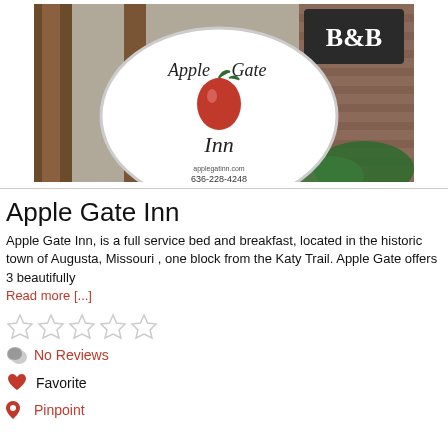[Figure (photo): Photo of Apple Gate Inn B&B sign — a circular sign reading 'Apple Gate Inn' with a red apple graphic, and a B&B sign visible to the right]
Apple Gate Inn
Apple Gate Inn, is a full service bed and breakfast, located in the historic town of Augusta, Missouri , one block from the Katy Trail. Apple Gate offers 3 beautifully Read more [...]
[Figure (other): Five empty star rating icons]
No Reviews
Favorite
Pinpoint